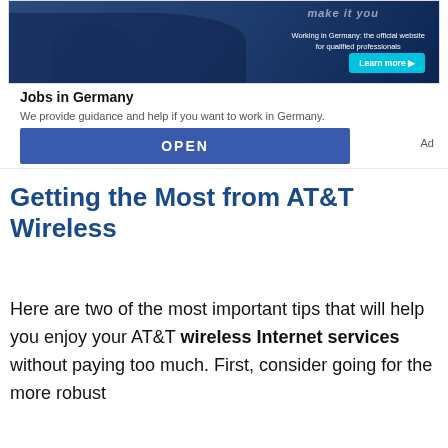[Figure (photo): Advertisement banner showing people working in an office with blue overlay, text 'Working in Germany: the official website for qualified professionals' and a 'Learn more' button]
Jobs in Germany
We provide guidance and help if you want to work in Germany.
OPEN
Ad
Getting the Most from AT&T Wireless
Here are two of the most important tips that will help you enjoy your AT&T wireless Internet services without paying too much. First, consider going for the more robust